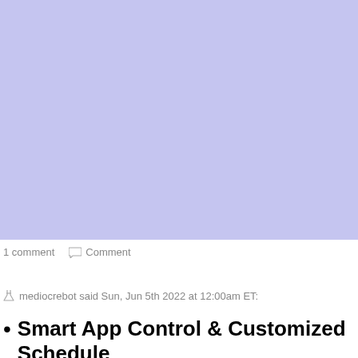[Figure (other): Light periwinkle/lavender blue solid color rectangle occupying the top portion of the page]
1 comment   Comment
mediocrebot said Sun, Jun 5th 2022 at 12:00am ET:
Smart App Control & Customized Schedule